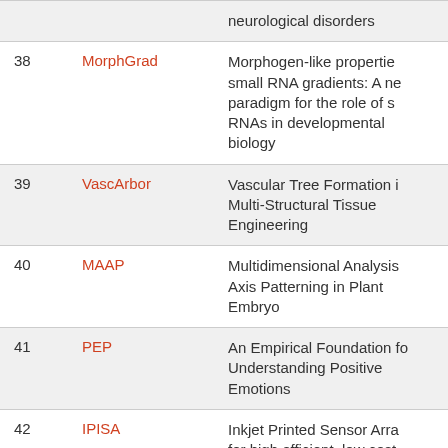| # | Acronym | Description |
| --- | --- | --- |
|  |  | neurological disorders |
| 38 | MorphGrad | Morphogen-like properties of small RNA gradients: A new paradigm for the role of small RNAs in developmental biology |
| 39 | VascArbor | Vascular Tree Formation in Multi-Structural Tissue Engineering |
| 40 | MAAP | Multidimensional Analysis of Axis Patterning in Plant Embryo |
| 41 | PEP | An Empirical Foundation for Understanding Positive Emotions |
| 42 | IPISA | Inkjet Printed Sensor Arrays for high efficient, low cost… |